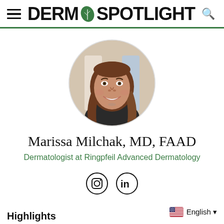DERM SPOTLIGHT
[Figure (photo): Circular profile photo of Marissa Milchak, MD, FAAD — a woman with long brown hair, smiling, wearing a dark top, photographed in a clinic setting.]
Marissa Milchak, MD, FAAD
Dermatologist at Ringpfeil Advanced Dermatology
[Figure (other): Instagram and LinkedIn social media icons (circular outline style)]
English ▼
Highlights